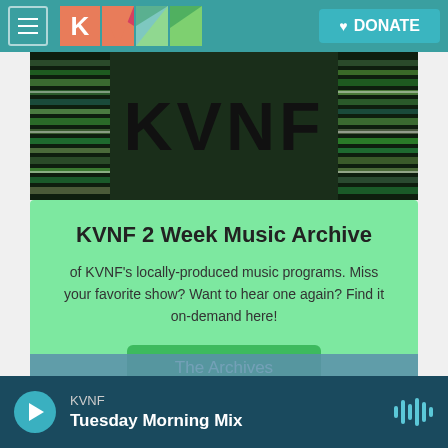KVNF — DONATE
[Figure (photo): KVNF hero banner image showing shelves of media/records with large KVNF text overlaid]
KVNF 2 Week Music Archive
of KVNF's locally-produced music programs. Miss your favorite show? Want to hear one again? Find it on-demand here!
The Archives
KVNF
Tuesday Morning Mix